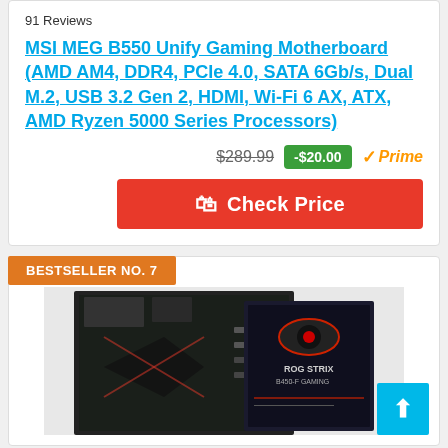91 Reviews
MSI MEG B550 Unify Gaming Motherboard (AMD AM4, DDR4, PCIe 4.0, SATA 6Gb/s, Dual M.2, USB 3.2 Gen 2, HDMI, Wi-Fi 6 AX, ATX, AMD Ryzen 5000 Series Processors)
$289.99  -$20.00  Prime  Check Price
BESTSELLER NO. 7
[Figure (photo): ASUS ROG STRIX B450-F GAMING motherboard and box product image]